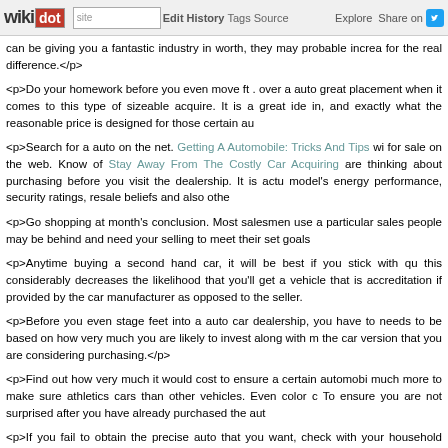wikidot | site Edit History Tags Source Explore Share on [Twitter]
can be giving you a fantastic industry in worth, they may probable increa for the real difference.</p>
<p>Do your homework before you even move ft . over a auto great placement when it comes to this type of sizeable acquire. It is a great ide in, and exactly what the reasonable price is designed for those certain au
<p>Search for a auto on the net. Getting A Automobile: Tricks And Tips wi for sale on the web. Know of Stay Away From The Costly Car Acquiring are thinking about purchasing before you visit the dealership. It is actu model's energy performance, security ratings, resale beliefs and also othe
<p>Go shopping at month's conclusion. Most salesmen use a particular sales people may be behind and need your selling to meet their set goals
<p>Anytime buying a second hand car, it will be best if you stick with qu this considerably decreases the likelihood that you'll get a vehicle that is accreditation if provided by the car manufacturer as opposed to the seller.
<p>Before you even stage feet into a auto car dealership, you have to needs to be based on how very much you are likely to invest along with m the car version that you are considering purchasing.</p>
<p>Find out how very much it would cost to ensure a certain automobi much more to make sure athletics cars than other vehicles. Even color c To ensure you are not surprised after you have already purchased the aut
<p>If you fail to obtain the precise auto that you want, check with your household cars might be personalized bought using the precise enhance utilized automobiles are often feasible for auto dealerships to discov